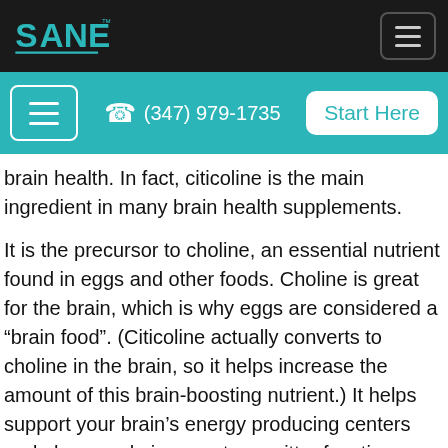SANE [logo] | hamburger menu
hamburger menu | (347) 979-1735 | Start Here
brain health. In fact, citicoline is the main ingredient in many brain health supplements.
It is the precursor to choline, an essential nutrient found in eggs and other foods. Choline is great for the brain, which is why eggs are considered a “brain food”. (Citicoline actually converts to choline in the brain, so it helps increase the amount of this brain-boosting nutrient.) It helps support your brain’s energy producing centers and plays a role in neurotransmitter function.
Citicoline has long been used for brain health.